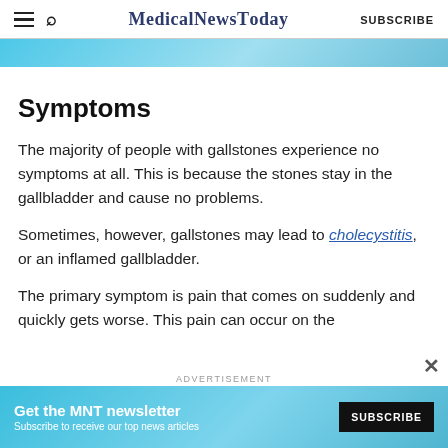MedicalNewsToday SUBSCRIBE
[Figure (photo): Partial banner image with blue/teal background, partially visible at top of content area]
Symptoms
The majority of people with gallstones experience no symptoms at all. This is because the stones stay in the gallbladder and cause no problems.
Sometimes, however, gallstones may lead to cholecystitis, or an inflamed gallbladder.
The primary symptom is pain that comes on suddenly and quickly gets worse. This pain can occur on the right side of the body, in the area of the liver and...
[Figure (infographic): Advertisement banner at bottom: Get the MNT newsletter - Subscribe to receive our top news articles - SUBSCRIBE button - blue/teal background with circular graphic element]